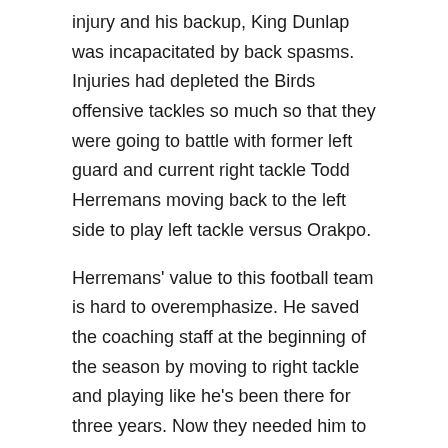injury and his backup, King Dunlap was incapacitated by back spasms. Injuries had depleted the Birds offensive tackles so much so that they were going to battle with former left guard and current right tackle Todd Herremans moving back to the left side to play left tackle versus Orakpo.
Herremans' value to this football team is hard to overemphasize. He saved the coaching staff at the beginning of the season by moving to right tackle and playing like he's been there for three years. Now they needed him to make another move.
At right tackle the Birds were forced to go with Winston Justice, who is still recovering from off season knee surgery. He hadn't played a down so far this season.